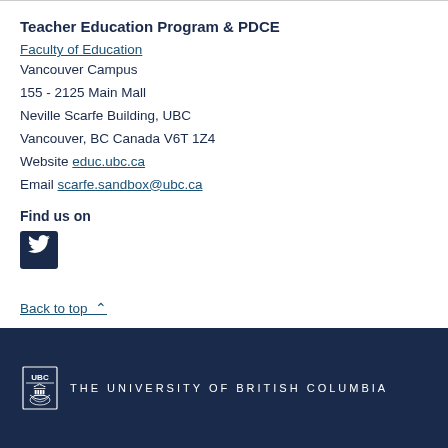Teacher Education Program & PDCE
Faculty of Education
Vancouver Campus
155 - 2125 Main Mall
Neville Scarfe Building, UBC
Vancouver, BC Canada V6T 1Z4
Website educ.ubc.ca
Email scarfe.sandbox@ubc.ca
Find us on
[Figure (logo): Twitter bird icon in dark navy square button]
Back to top ∧
[Figure (logo): UBC shield logo with text THE UNIVERSITY OF BRITISH COLUMBIA on dark navy footer bar]